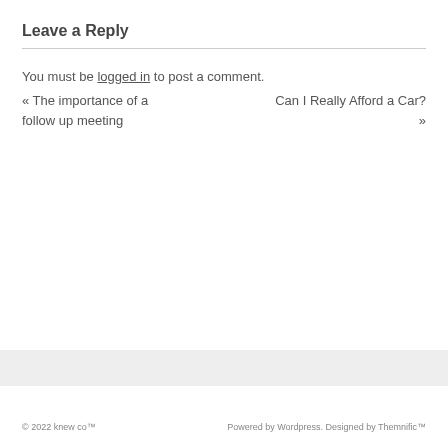Leave a Reply
You must be logged in to post a comment.
« The importance of a follow up meeting    Can I Really Afford a Car? »
© 2022 knew co™    Powered by Wordpress. Designed by Themnific™